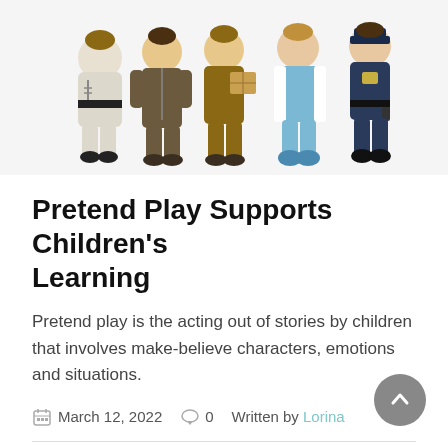[Figure (photo): Children dressed in various professional costumes (karate/astronaut, pilot/jumpsuit, delivery/UPS, doctor/medical, police officer) standing in a row against a white background.]
Pretend Play Supports Children's Learning
Pretend play is the acting out of stories by children that involves make-believe characters, emotions and situations.
March 12, 2022   0   Written by Lorina